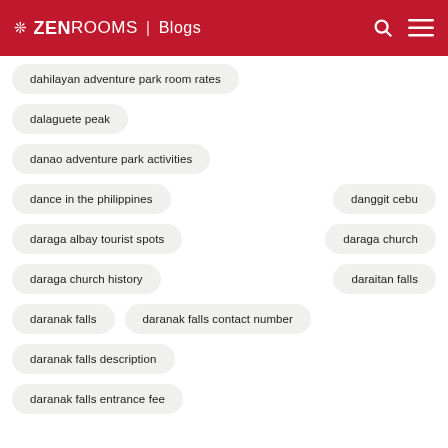ZEN ROOMS | Blogs
dahilayan adventure park room rates
dalaguete peak
danao adventure park activities
dance in the philippines
danggit cebu
daraga albay tourist spots
daraga church
daraga church history
daraitan falls
daranak falls
daranak falls contact number
daranak falls description
daranak falls entrance fee